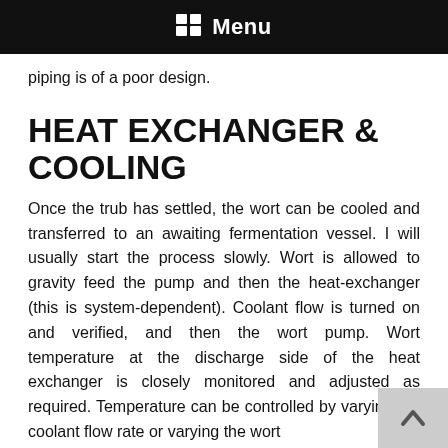Menu
piping is of a poor design.
HEAT EXCHANGER & COOLING
Once the trub has settled, the wort can be cooled and transferred to an awaiting fermentation vessel. I will usually start the process slowly. Wort is allowed to gravity feed the pump and then the heat-exchanger (this is system-dependent). Coolant flow is turned on and verified, and then the wort pump. Wort temperature at the discharge side of the heat exchanger is closely monitored and adjusted as required. Temperature can be controlled by varying the coolant flow rate or varying the wort